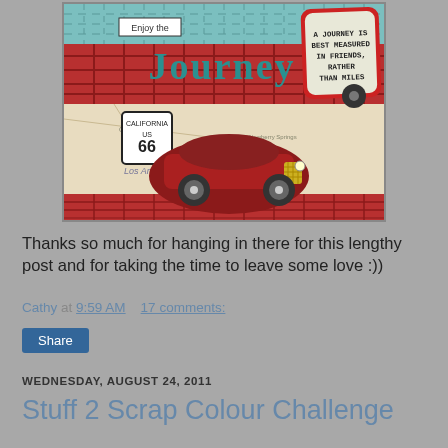[Figure (photo): A scrapbook card featuring a Route 66 / California road trip theme. Shows a vintage red classic car, US Route 66 California sign, a decorative quote tag reading 'A journey is best measured in friends rather than miles', text 'Enjoy the Journey', blue tartan and plaid patterned papers, a map background showing Los Angeles area, and decorative borders.]
Thanks so much for hanging in there for this lengthy post and for taking the time to leave some love :))
Cathy at 9:59 AM    17 comments:
Share
WEDNESDAY, AUGUST 24, 2011
Stuff 2 Scrap Colour Challenge